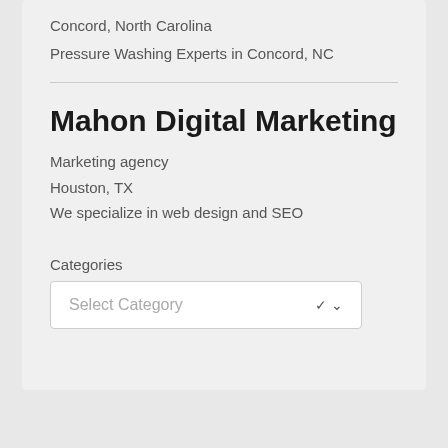Concord, North Carolina
Pressure Washing Experts in Concord, NC
Mahon Digital Marketing
Marketing agency
Houston, TX
We specialize in web design and SEO
Categories
Select Category